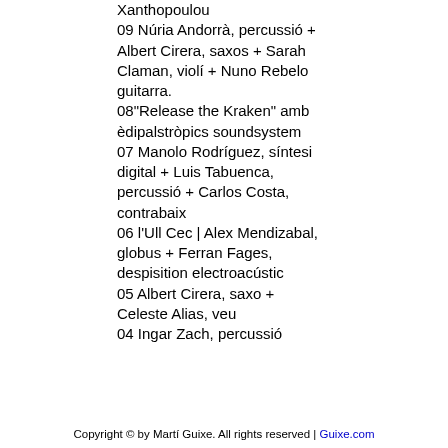Xanthopoulou
09 Núria Andorrà, percussió + Albert Cirera, saxos + Sarah Claman, violí + Nuno Rebelo guitarra.
08"Release the Kraken" amb èdipalstròpics soundsystem
07 Manolo Rodríguez, síntesi digital + Luis Tabuenca, percussió + Carlos Costa, contrabaix
06 l'Ull Cec | Alex Mendizabal, globus + Ferran Fages, despisition electroacústic
05 Albert Cirera, saxo + Celeste Alias, veu
04 Ingar Zach, percussió
Copyright © by Martí Guixe. All rights reserved | Guixe.com